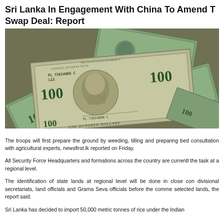Sri Lanka In Engagement With China To Amend The Swap Deal: Report
[Figure (photo): Pile of US $100 dollar bills spread out, showing multiple banknotes with Benjamin Franklin portrait]
The troops will first prepare the ground by weeding, tilling and preparing beds in consultation with agricultural experts, newsfirst.lk reported on Friday.
All Security Force Headquarters and formations across the country are currently handling the task at a regional level.
The identification of state lands at regional level will be done in close consultation with divisional secretariats, land officials and Grama Seva officials before the commencement on selected lands, the report said.
Sri Lanka has decided to import 50,000 metric tonnes of rice under the Indian